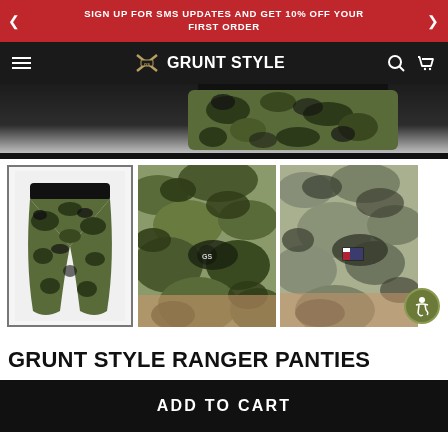SIGN UP FOR SMS UPDATES AND GET 10% OFF YOUR FIRST ORDER
[Figure (screenshot): Grunt Style navigation bar with hamburger menu, logo, search and cart icons on dark background]
[Figure (photo): Close-up of camo ranger panties shorts on dark background hero image]
[Figure (photo): Three thumbnail product images of Grunt Style Ranger Panties in camo patterns]
GRUNT STYLE RANGER PANTIES
ADD TO CART